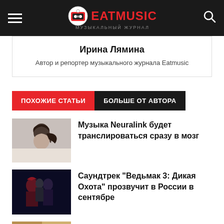EATMUSIC — Музыкальный журнал
Ирина Лямина
Автор и репортер музыкального журнала Eatmusic
ПОХОЖИЕ СТАТЬИ   БОЛЬШЕ ОТ АВТОРА
[Figure (photo): Portrait photo of a woman in profile view with hair tied back]
Музыка Neuralink будет транслироваться сразу в мозг
[Figure (photo): Dark moody photo of musicians/band members]
Саундтрек "Ведьмак 3: Дикая Охота" прозвучит в России в сентябре
[Figure (photo): Partially visible photo, article cut off at bottom]
Ценн музыкальные предпочтения...